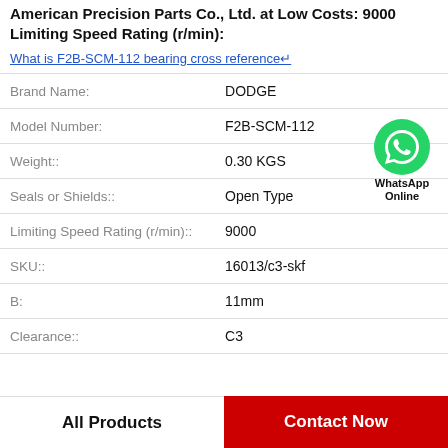American Precision Parts Co., Ltd. at Low Costs: 9000 Limiting Speed Rating (r/min):
What is F2B-SCM-112 bearing cross reference
| Property | Value |
| --- | --- |
| Brand Name: | DODGE |
| Model Number: | F2B-SCM-112 |
| Weight:: | 0.30 KGS |
| Seals or Shields:: | Open Type |
| Limiting Speed Rating (r/min):: | 9000 |
| SKU:: | 16013/c3-skf |
| B: | 11mm |
| Clearance:: | C3 |
All Products
Contact Now